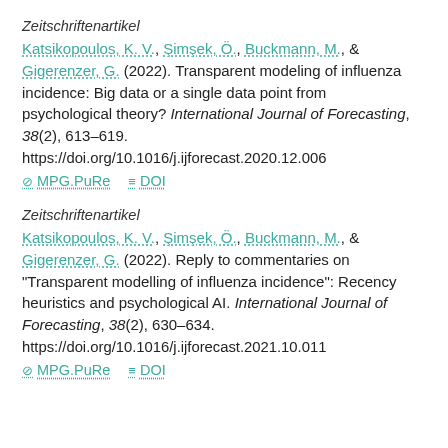Zeitschriftenartikel
Katsikopoulos, K. V., Şimşek, Ö., Buckmann, M., & Gigerenzer, G. (2022). Transparent modeling of influenza incidence: Big data or a single data point from psychological theory? International Journal of Forecasting, 38(2), 613–619. https://doi.org/10.1016/j.ijforecast.2020.12.006
MPG.PuRe   DOI
Zeitschriftenartikel
Katsikopoulos, K. V., Şimşek, Ö., Buckmann, M., & Gigerenzer, G. (2022). Reply to commentaries on "Transparent modelling of influenza incidence": Recency heuristics and psychological AI. International Journal of Forecasting, 38(2), 630–634. https://doi.org/10.1016/j.ijforecast.2021.10.011
MPG.PuRe   DOI